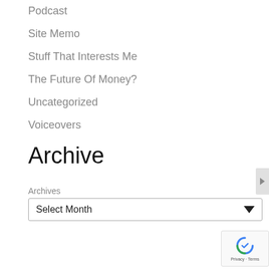Podcast
Site Memo
Stuff That Interests Me
The Future Of Money?
Uncategorized
Voiceovers
Voices
Archive
Archives
Select Month